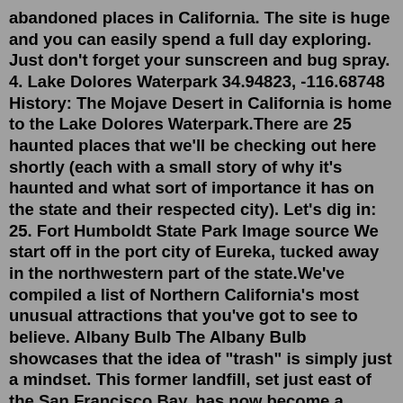abandoned places in California. The site is huge and you can easily spend a full day exploring. Just don't forget your sunscreen and bug spray. 4. Lake Dolores Waterpark 34.94823, -116.68748 History: The Mojave Desert in California is home to the Lake Dolores Waterpark.There are 25 haunted places that we'll be checking out here shortly (each with a small story of why it's haunted and what sort of importance it has on the state and their respected city). Let's dig in: 25. Fort Humboldt State Park Image source We start off in the port city of Eureka, tucked away in the northwestern part of the state.We've compiled a list of Northern California's most unusual attractions that you've got to see to believe. Albany Bulb The Albany Bulb showcases that the idea of "trash" is simply just a mindset. This former landfill, set just east of the San Francisco Bay, has now become a space for artists to come and do what they do: make art.Jul 29, 2017 · Presidio Pet Cemetery, San Francisco, CA. The Presidio Pet Cemetery is creepier if you've seen